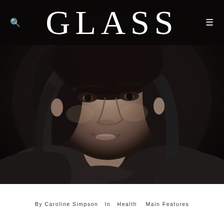GLASS
[Figure (photo): Black and white portrait photo of a smiling Asian woman with dark hair, wearing a dark jacket, against a dark background]
By Caroline Simpson  In  Health   Main Features